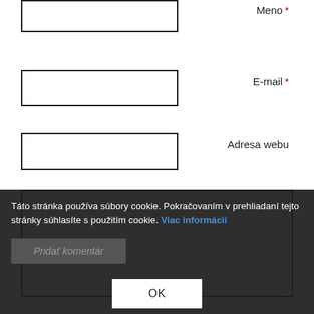Meno *
[Figure (other): Empty text input box for Meno (name) field]
E-mail *
[Figure (other): Empty text input box for E-mail field]
Adresa webu
[Figure (other): Empty text input box for Adresa webu (website address) field]
[Figure (other): Large textarea for comment input]
Táto stránka používa súbory cookie. Pokračovaním v prehliadaní tejto stránky súhlasíte s použitím cookie. Viac informácií
Pridať komentár
OK